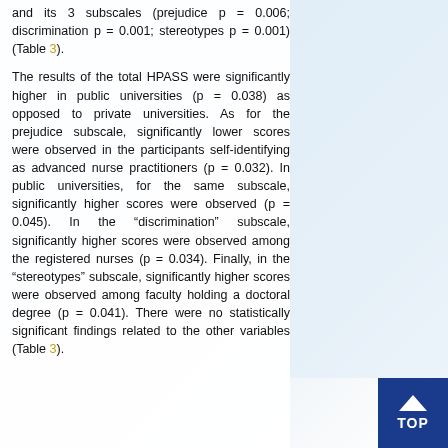and its 3 subscales (prejudice p = 0.006; discrimination p = 0.001; stereotypes p = 0.001) (Table 3). The results of the total HPASS were significantly higher in public universities (p = 0.038) as opposed to private universities. As for the prejudice subscale, significantly lower scores were observed in the participants self-identifying as advanced nurse practitioners (p = 0.032). In public universities, for the same subscale, significantly higher scores were observed (p = 0.045). In the “discrimination” subscale, significantly higher scores were observed among the registered nurses (p = 0.034). Finally, in the “stereotypes” subscale, significantly higher scores were observed among faculty holding a doctoral degree (p = 0.041). There were no statistically significant findings related to the other variables (Table 3).